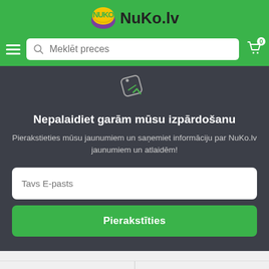[Figure (logo): NuKo.lv logo with yellow/green oval graphic and bold text 'NuKo.lv']
Meklēt preces
Nepalaidiet garām mūsu izpārdošanu
Pierakstieties mūsu jaunumiem un saņemiet informāciju par NuKo.lv jaunumiem un atlaidēm!
Tavs E-pasts
Pierakstīties
Kategorijas
Kārtot pēc